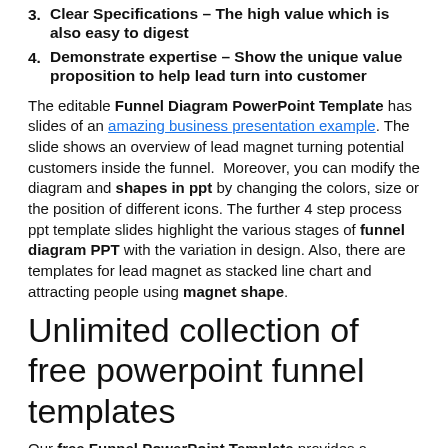3. Clear Specifications – The high value which is also easy to digest
4. Demonstrate expertise – Show the unique value proposition to help lead turn into customer
The editable Funnel Diagram PowerPoint Template has slides of an amazing business presentation example. The slide shows an overview of lead magnet turning potential customers inside the funnel. Moreover, you can modify the diagram and shapes in ppt by changing the colors, size or the position of different icons. The further 4 step process ppt template slides highlight the various stages of funnel diagram PPT with the variation in design. Also, there are templates for lead magnet as stacked line chart and attracting people using magnet shape.
Unlimited collection of free powerpoint funnel templates
Our free Funnel PowerPoint Template provides a collection of vertical and horizontal process flow diagram. Moreover, It illustrates data filtration process that is commonly used in sales and marketing strategies. PPT Funnel template shows stages that begin at traffic and ends at buyer. Whereas, the sale funnel